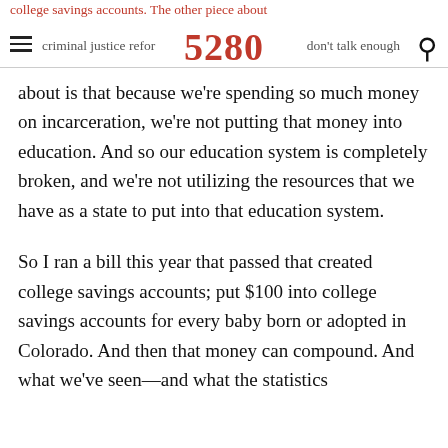college savings accounts. The other piece about criminal justice reform don't talk enough 5280
about is that because we're spending so much money on incarceration, we're not putting that money into education. And so our education system is completely broken, and we're not utilizing the resources that we have as a state to put into that education system.
So I ran a bill this year that passed that created college savings accounts; put $100 into college savings accounts for every baby born or adopted in Colorado. And then that money can compound. And what we've seen—and what the statistics